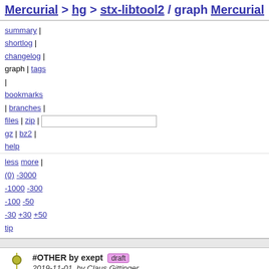Mercurial > hg > stx-libtool2 / graph    Mercurial
summary | shortlog | changelog | graph | tags | bookmarks | branches | files | zip | gz | bz2 | help
less more | (0) -3000 -1000 -300 -100 -50 -30 +30 +50 tip
#OTHER by exept draft 2019-11-01, by Claus Gittinger
#OTHER by exept draft 2019-11-01, by Claus Gittinger
#OTHER by exept draft 2019-11-01, by Claus Gittinger
#OTHER by exept draft